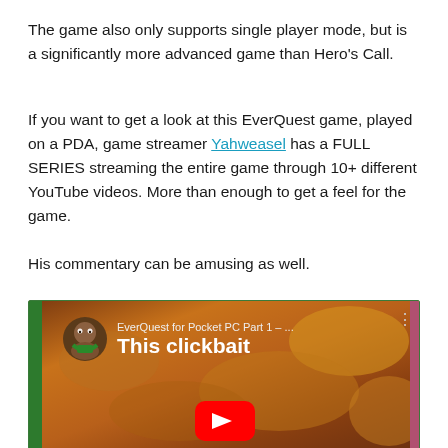The game also only supports single player mode, but is a significantly more advanced game than Hero's Call.
If you want to get a look at this EverQuest game, played on a PDA, game streamer Yahweasel has a FULL SERIES streaming the entire game through 10+ different YouTube videos. More than enough to get a feel for the game.
His commentary can be amusing as well.
[Figure (screenshot): YouTube video thumbnail showing 'EverQuest for Pocket PC Part 1 – ...' with subtitle 'This clickbait'. The thumbnail shows a food-themed background with a weasel avatar icon, a YouTube play button at the bottom center, green border on left, pink border on right.]